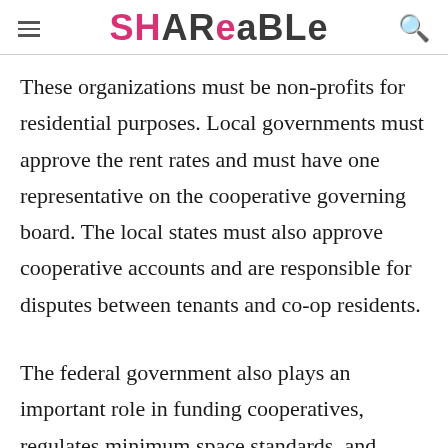SHAREABLE
These organizations must be non-profits for residential purposes. Local governments must approve the rent rates and must have one representative on the cooperative governing board. The local states must also approve cooperative accounts and are responsible for disputes between tenants and co-op residents.
The federal government also plays an important role in funding cooperatives, regulates minimum space standards, and